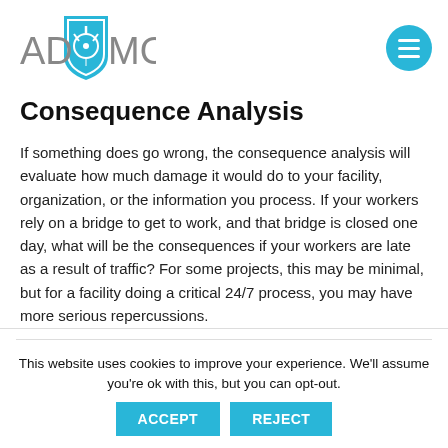[Figure (logo): ADAMO logo with blue shield icon containing a compass/drafting tool symbol, and the text ADAMO in grey]
Consequence Analysis
If something does go wrong, the consequence analysis will evaluate how much damage it would do to your facility, organization, or the information you process. If your workers rely on a bridge to get to work, and that bridge is closed one day, what will be the consequences if your workers are late as a result of traffic? For some projects, this may be minimal, but for a facility doing a critical 24/7 process, you may have more serious repercussions.
This website uses cookies to improve your experience. We'll assume you're ok with this, but you can opt-out.